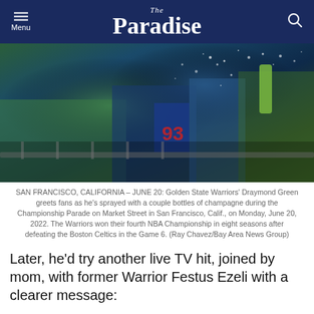The Paradise
[Figure (photo): Golden State Warriors celebration parade photo showing players being sprayed with champagne, fans in Warriors jerseys visible in background]
SAN FRANCISCO, CALIFORNIA – JUNE 20: Golden State Warriors' Draymond Green greets fans as he's sprayed with a couple bottles of champagne during the Championship Parade on Market Street in San Francisco, Calif., on Monday, June 20, 2022. The Warriors won their fourth NBA Championship in eight seasons after defeating the Boston Celtics in the Game 6. (Ray Chavez/Bay Area News Group)
Later, he'd try another live TV hit, joined by mom, with former Warrior Festus Ezeli with a clearer message:
“Winners win. No one understands that. Y’all try to quantify it. Y’all try to make it about points. But